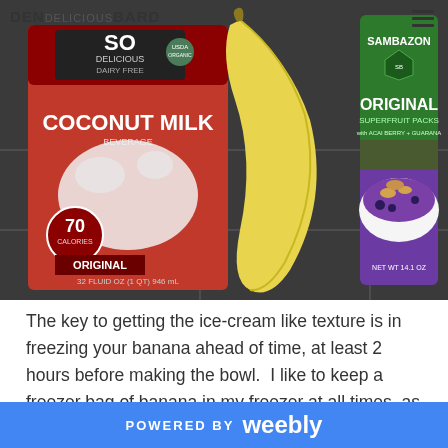[Figure (photo): Photo of So Delicious Dairy Free Coconut Milk carton on the left, a yellow banana in the middle, and a Sambazon Original Superfruit Packs bag on the right, set on a tiled surface.]
The key to getting the ice-cream like texture is in freezing your banana ahead of time, at least 2 hours before making the bowl.  I like to keep a freezer bag of banana in my freezer at all times, as it's perfect for making bowls and fake ice cream.  To freeze it, you will want to find ripe
POWERED BY weebly